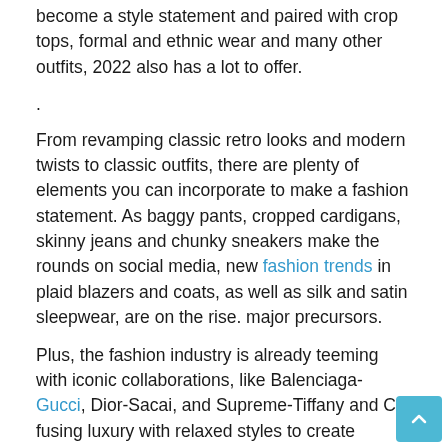become a style statement and paired with crop tops, formal and ethnic wear and many other outfits, 2022 also has a lot to offer.
.
From revamping classic retro looks and modern twists to classic outfits, there are plenty of elements you can incorporate to make a fashion statement. As baggy pants, cropped cardigans, skinny jeans and chunky sneakers make the rounds on social media, new fashion trends in plaid blazers and coats, as well as silk and satin sleepwear, are on the rise. major precursors.
Plus, the fashion industry is already teeming with iconic collaborations, like Balenciaga-Gucci, Dior-Sacai, and Supreme-Tiffany and Co, fusing luxury with relaxed styles to create something unique for everyone.
Meanwhile, many other trends are seeping into our lives, catching us off guard. From bold, contrasting prints to neutral tones and to colourblock jackets, suits and shoes, 2022 will be about a mix of styles and how you want to wear the look.